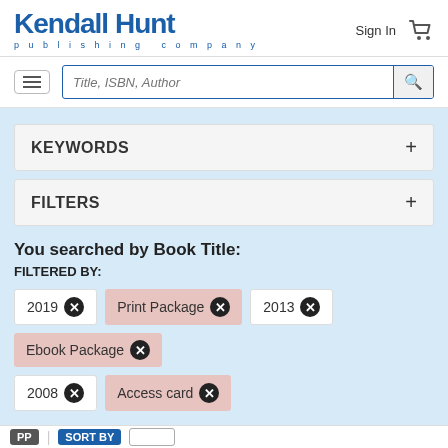[Figure (logo): Kendall Hunt publishing company logo in blue]
Sign In
[Figure (other): Shopping cart icon]
[Figure (other): Hamburger menu icon]
Title, ISBN, Author (search bar placeholder)
KEYWORDS +
FILTERS +
You searched by Book Title:
FILTERED BY:
2019 ✕
Print Package ✕
2013 ✕
Ebook Package ✕
2008 ✕
Access card ✕